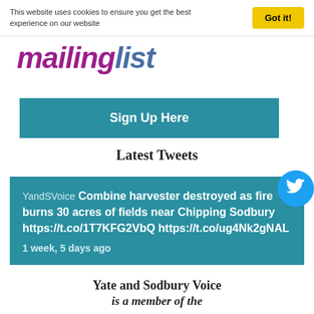This website uses cookies to ensure you get the best experience on our website
Got it!
[Figure (logo): mailinglist logo with 'mailing' in purple/magenta italic bold and 'list' in steel blue italic bold]
Sign Up Here
Latest Tweets
YandSVoice Combine harvester destroyed as fire burns 30 acres of fields near Chipping Sodbury https://t.co/1T7KFG2VbQ https://t.co/ug4Nk2gNAL 1 week, 5 days ago
Yate and Sodbury Voice
is a member of the